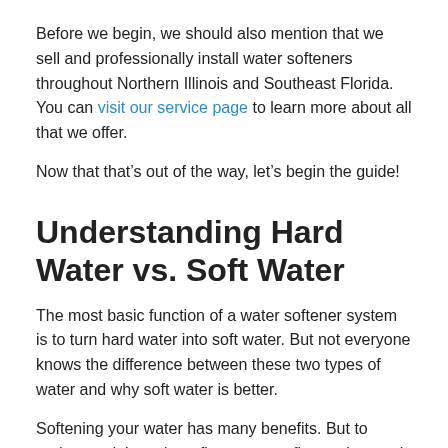Before we begin, we should also mention that we sell and professionally install water softeners throughout Northern Illinois and Southeast Florida. You can visit our service page to learn more about all that we offer.
Now that that’s out of the way, let’s begin the guide!
Understanding Hard Water vs. Soft Water
The most basic function of a water softener system is to turn hard water into soft water. But not everyone knows the difference between these two types of water and why soft water is better.
Softening your water has many benefits. But to understand those benefits, we must first understand the difference between hard water and soft water.
As we will see, this difference has to do with the mineral content of the water.